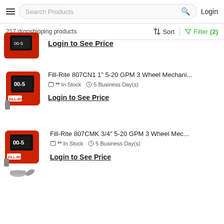Search Products | Login
217 dropshipping products | Sort | Filter(2)
[Figure (photo): Red Fill-Rite fuel flow meter product image (partial, top of page)]
Login to See Price
[Figure (photo): Red Fill-Rite 807CN1 mechanical fuel flow meter product image]
Fill-Rite 807CN1 1" 5-20 GPM 3 Wheel Mechani...
** In Stock  5 Business Day(s)
Login to See Price
[Figure (photo): Red Fill-Rite 807CMK 3/4" mechanical fuel flow meter product image with fittings]
Fill-Rite 807CMK 3/4" 5-20 GPM 3 Wheel Mec...
** In Stock  5 Business Day(s)
Login to See Price